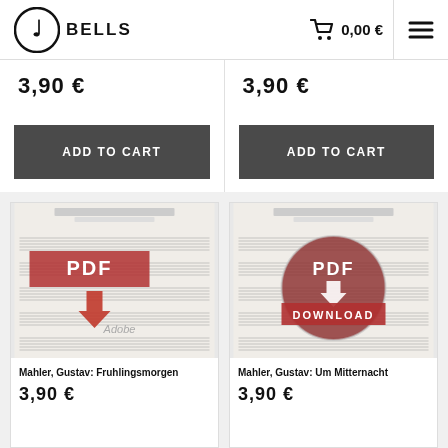[Figure (logo): Bells music store logo with stylized music note icon and bold BELLS text]
0,00 €
3,90 €
3,90 €
ADD TO CART
ADD TO CART
[Figure (screenshot): Sheet music score for Mahler Gustav Fruhlingsmorgen with PDF download overlay showing Adobe PDF icon]
[Figure (screenshot): Sheet music score for Mahler Gustav Um Mitternacht with circular PDF DOWNLOAD overlay badge]
Mahler, Gustav: Fruhlingsmorgen
3,90 €
Mahler, Gustav: Um Mitternacht
3,90 €